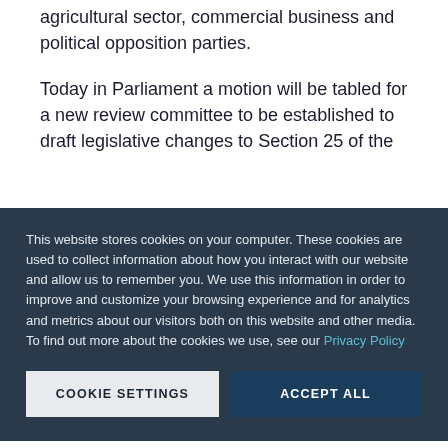agricultural sector, commercial business and political opposition parties.
Today in Parliament a motion will be tabled for a new review committee to be established to draft legislative changes to Section 25 of the
This website stores cookies on your computer. These cookies are used to collect information about how you interact with our website and allow us to remember you. We use this information in order to improve and customize your browsing experience and for analytics and metrics about our visitors both on this website and other media. To find out more about the cookies we use, see our Privacy Policy
COOKIE SETTINGS
ACCEPT ALL